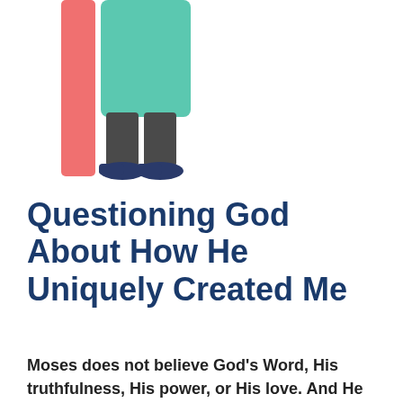[Figure (illustration): Lower half of a illustrated woman figure wearing a teal/green top, dark gray cropped trousers, and dark blue flat shoes, standing next to a tall salmon/coral-pink vertical rectangle bar. White background.]
Questioning God About How He Uniquely Created Me
Moses does not believe God's Word, His truthfulness, His power, or His love. And He has